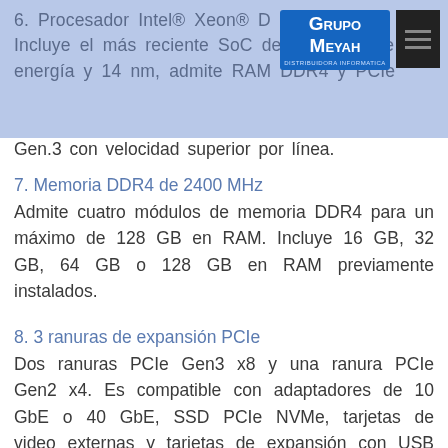6. Procesador Intel® Xeon® D Incluye el más reciente SoC de eficiencia de energía y 14 nm, admite RAM DDR4 y PCIe Gen.3 con velocidad superior por línea.
7. Memoria DDR4 de 2400 MHz
Admite cuatro módulos de memoria DDR4 para un máximo de 128 GB en RAM. Incluye 16 GB, 32 GB, 64 GB o 128 GB en RAM previamente instalados.
8. 3 ranuras de expansión PCIe
Dos ranuras PCIe Gen3 x8 y una ranura PCIe Gen2 x4. Es compatible con adaptadores de 10 GbE o 40 GbE, SSD PCIe NVMe, tarjetas de video externas y tarjetas de expansión con USB 3.1.
9. Salida de audio de 3.5 mm